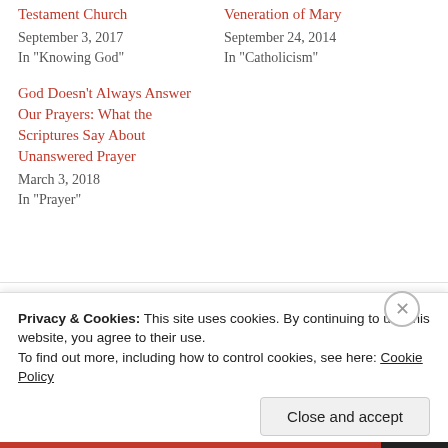Testament Church
September 3, 2017
In "Knowing God"
Veneration of Mary
September 24, 2014
In "Catholicism"
God Doesn't Always Answer Our Prayers: What the Scriptures Say About Unanswered Prayer
March 3, 2018
In "Prayer"
← God Doesn't Always Answer Our Prayers: What
Privacy & Cookies: This site uses cookies. By continuing to use this website, you agree to their use.
To find out more, including how to control cookies, see here: Cookie Policy
Close and accept